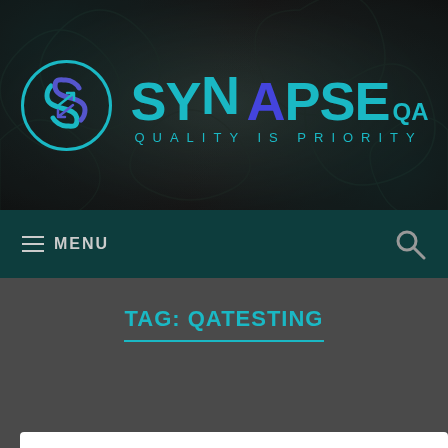[Figure (logo): SynapseQA logo with circular S icon and teal SYNAPSE QA text, tagline QUALITY IS PRIORITY below, on dark ornamental background]
≡ MENU    🔍
TAG: QATESTING
What UI testing will look like in 20 years